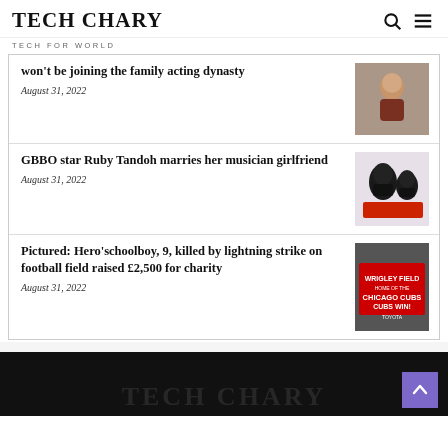TECH CHARY
TECH FOR WORLD
won't be joining the family acting dynasty
August 31, 2022
[Figure (photo): Child in outdoor setting]
GBBO star Ruby Tandoh marries her musician girlfriend
August 31, 2022
[Figure (photo): Two Darth Vader helmet figurines on a red surface]
Pictured: Hero'schoolboy, 9, killed by lightning strike on football field raised £2,500 for charity
August 31, 2022
[Figure (photo): Wrigley Field sign reading Chicago Cubs Cubs Win! with Toyota logo]
TECH CHARY